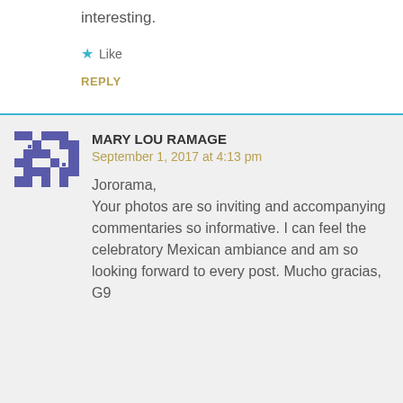interesting.
★ Like
REPLY
MARY LOU RAMAGE
September 1, 2017 at 4:13 pm
Jororama,
Your photos are so inviting and accompanying commentaries so informative. I can feel the celebratory Mexican ambiance and am so looking forward to every post. Mucho gracias, G9